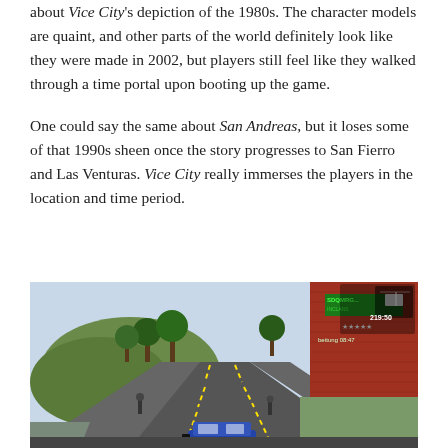about Vice City's depiction of the 1980s. The character models are quaint, and other parts of the world definitely look like they were made in 2002, but players still feel like they walked through a time portal upon booting up the game.
One could say the same about San Andreas, but it loses some of that 1990s sheen once the story progresses to San Fierro and Las Venturas. Vice City really immerses the players in the location and time period.
[Figure (screenshot): Screenshot from GTA San Andreas showing a road scene with trees, a hill in the background, a brick building on the right, and the game HUD visible in the top right corner showing a weapon icon and time 219:50, with 'bettung 08:47' text. A blue car is visible at the bottom of the frame.]